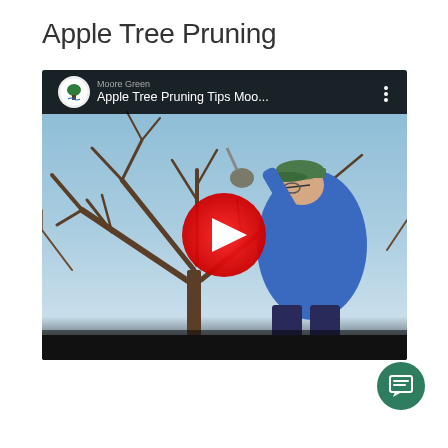Apple Tree Pruning
[Figure (screenshot): YouTube video thumbnail showing a man in a blue jacket and green cap pruning an apple tree with bare branches against a blue sky. A red YouTube play button is centered on the image. The video title reads 'Apple Tree Pruning Tips Moo...' with the Moore Green channel logo.]